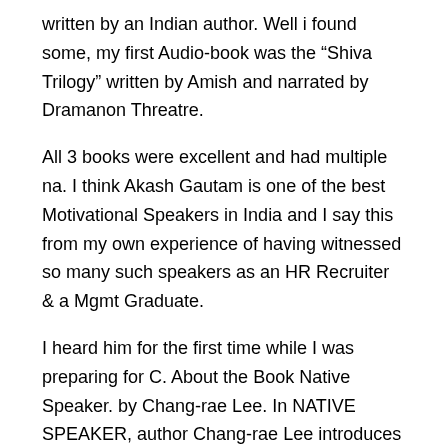written by an Indian author. Well i found some, my first Audio-book was the “Shiva Trilogy” written by Amish and narrated by Dramanon Threatre.
All 3 books were excellent and had multiple na. I think Akash Gautam is one of the best Motivational Speakers in India and I say this from my own experience of having witnessed so many such speakers as an HR Recruiter & a Mgmt Graduate.
I heard him for the first time while I was preparing for C. About the Book Native Speaker. by Chang-rae Lee. In NATIVE SPEAKER, author Chang-rae Lee introduces readers to Henry Park.
Park has spent his entire life trying to become a true American a native speaker. But even as the essence of his adopted country continues to elude him, his Korean heritage seems to drift further and further away.
A friend recommended Native Speaker by Korean American writer Chang Rae Lee, so I picked it up in a used book store and forgot